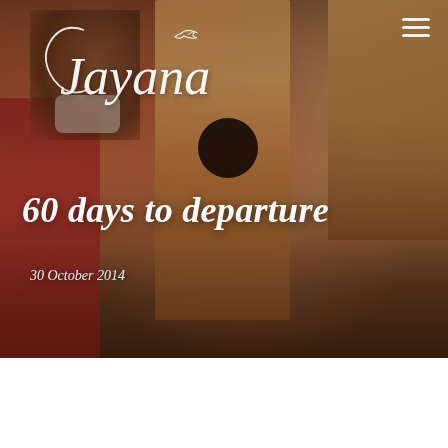[Figure (photo): A person wearing a dust mask working on wooden boat interior cabinetry, surrounded by wooden panels and joinery. The scene shows boat renovation work in progress.]
Jayana
60 days to departure
30 October 2014